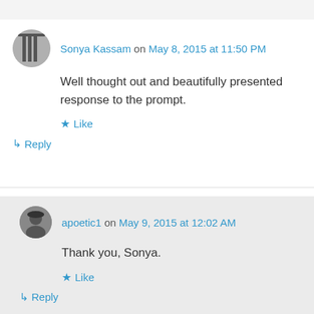Sonya Kassam on May 8, 2015 at 11:50 PM
Well thought out and beautifully presented response to the prompt.
Like
Reply
apoetic1 on May 9, 2015 at 12:02 AM
Thank you, Sonya.
Like
Reply